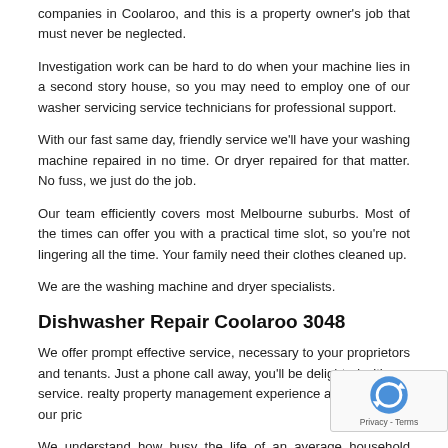companies in Coolaroo, and this is a property owner's job that must never be neglected.
Investigation work can be hard to do when your machine lies in a second story house, so you may need to employ one of our washer servicing service technicians for professional support.
With our fast same day, friendly service we'll have your washing machine repaired in no time. Or dryer repaired for that matter. No fuss, we just do the job.
Our team efficiently covers most Melbourne suburbs. Most of the times can offer you with a practical time slot, so you're not lingering all the time. Your family need their clothes cleaned up.
We are the washing machine and dryer specialists.
Dishwasher Repair Coolaroo 3048
We offer prompt effective service, necessary to your proprietors and tenants. Just a phone call away, you'll be delighted with our service. realty property management experience and most of all our pric…
We understand how busy the life of an average household… dishwasher is one of the most appreciated home appliances in your…